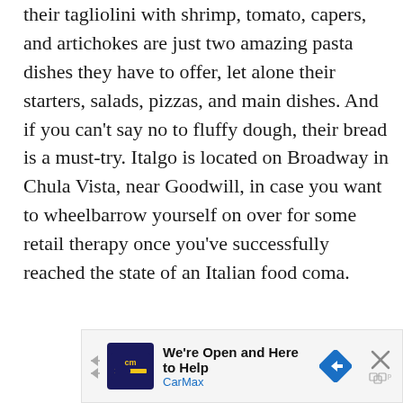their tagliolini with shrimp, tomato, capers, and artichokes are just two amazing pasta dishes they have to offer, let alone their starters, salads, pizzas, and main dishes. And if you can't say no to fluffy dough, their bread is a must-try. Italgo is located on Broadway in Chula Vista, near Goodwill, in case you want to wheelbarrow yourself on over for some retail therapy once you've successfully reached the state of an Italian food coma.
[Figure (other): CarMax advertisement banner: 'We're Open and Here to Help' with CarMax logo and blue navigation arrow icon, close button with X]